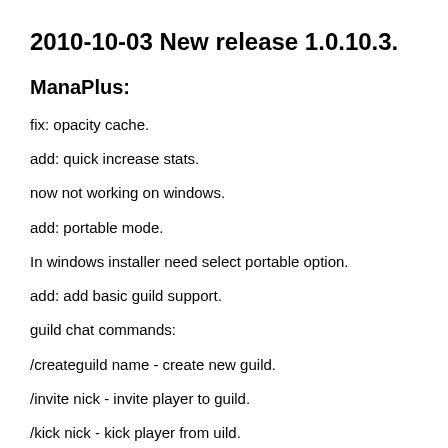2010-10-03 New release 1.0.10.3.
ManaPlus:
fix: opacity cache.
add: quick increase stats.
now not working on windows.
add: portable mode.
In windows installer need select portable option.
add: add basic guild support.
guild chat commands:
/createguild name - create new guild.
/invite nick - invite player to guild.
/kick nick - kick player from uild.